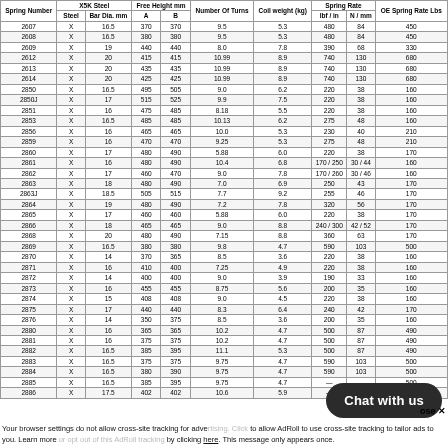| Spring Number | X5K Steel | Bar Dia. mm | Free Height mm A | Free Height mm B | Number Of Turns | Coil weight (kg) | Spring Rate lbf/in | Spring Rate N/mm | OE Spring Rate Lbs |
| --- | --- | --- | --- | --- | --- | --- | --- | --- | --- |
| 2607 | X | 16.5 | 370 | 370 | 9.5 | 5.3 | 480 | 84 | 450 |
| 2608 | X | 16.5 | 380 | 380 | 9.5 | 5.3 | 480 | 84 | 450 |
| 2609 | X | 19 | 440 | 440 | 8.0 | 7.8 | 390 | 68 | 330 |
| 2612 | X | 20 | 415 | 415 | 10.99 | 8.9 | 740 | 130 | 680 |
| 2613 | X | 20 | 435 | 435 | 10.99 | 8.9 | 740 | 130 | 680 |
| 2614 | X | 20 | 425 | 425 | 10.99 | 8.9 | 740 | 130 | 680 |
| 2850 | X | 16.5 | 495 | 505 | 9.0 | 6.2 | 220 | 38 | 160 |
| 2850J | X | 17 | 515 | 525 | 9.9 | 7.5 | 220 | 38 | 160 |
| 2851 | X | 16 | 475 | 485 | 8.18 | 5.5 | 220 | 38 | 160 |
| 2853 | X | 16.5 | 485 | 485 | 10.13 | 6.2 | 275 | 48 | 160 |
| 2856 | X | 16 | 465 | 465 | 10.0 | 5.3 | 230 | 40 | 210 |
| 2859 | X | 16 | 470 | 470 | 9.25 | 5.3 | 275 | 48 | 210 |
| 2860 | X | 17 | 480 | 490 | 5.88 | 6.0 | 220 | 38 | 170 |
| 2861 | X | 16 | 480 | 490 | 10.4 | 6.8 | 170/250 | 30/44 | 160 |
| 2862 | X | 17 | 460 | 470 | 9.0 | 7.8 | 170/260 | 30/46 | 160 |
| 2863 | X | 18 | 480 | 490 | 7.0 | 6.9 | 250 | 43 | 170 |
| 2863J | X | 18.5 | 505 | 515 | 7.7 | 9.2 | 255 | 46 | 170 |
| 2864 | X | 19 | 480 | 490 | 7.2 | 7.8 | 320 | 56 | 170 |
| 2865 | X | 17 | 460 | 460 | 5.88 | 6.0 | 220 | 38 | 170 |
| 2866 | X | 18 | 465 | 465 | 9.0 | 8.8 | 240/300 | 42/52 | 170 |
| 2868 | X | 20 | 480 | 490 | 7.15 | 8.8 | 360 | 63 | 170 |
| 2869 | X | 16.5 | 380 | 380 | 9.8 | 4.7 | 590 | 103 | 500 |
| 2870 | X | 14 | 370 | 365 | 8.5 | 3.6 | 220 | 38 | 160 |
| 2871 | X | 16 | 410 | 400 | 7.25 | 4.9 | 220 | 38 | 160 |
| 2872 | X | 14 | 400 | 400 | 9.0 | 3.9 | 190 | 33 | 160 |
| 2873 | X | 16 | 455 | 455 | 8.75 | 5.6 | 200 | 35 | 160 |
| 2874 | X | 15 | 408 | 408 | 9.0 | 4.5 | 220 | 38 | 160 |
| 2875 | X | 17 | 440 | 440 | 8.3 | 6.4 | 240 | 42 | 170 |
| 2876 | X | 14 | 350 | 375 | 8.5 | 3.6 | 200 | 35 | 160 |
| 2880 | X | 16 | 365 | 365 | 10.2 | 4.7 | 500 | 87 | 490 |
| 2881 | X | 16 | 375 | 375 | 10.2 | 4.7 | 500 | 87 | 490 |
| 2882 | X | 16.5 | 385 | 395 | 11.1 | 5.3 | 500 | 87 | 490 |
| 2883 | X | 16.5 | 375 | 375 | 9.75 | 4.7 | 590 | 103 | 500 |
| 2884 | X | 16.5 | 380 | 390 | 9.75 | 4.7 | 590 | 103 | 500 |
| 2885 | X | 16.5 | 385 | 395 | 9.75 | 4.7 | — | — | 500 |
| 2886 | X | 17.5 | 402 | 402 | 10.6 | 5.9 | — | — | — |
Your browser settings do not allow cross-site tracking for advertising. Click here to allow AdRoll to use cross-site tracking to tailor ads to you. Learn more or opt out of this AdRoll tracking by clicking here. This message only appears once.